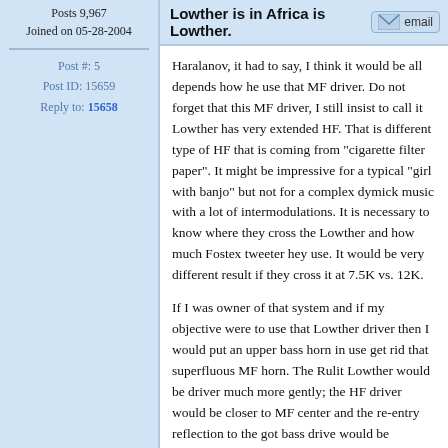Posts 9,967
Joined on 05-28-2004
Post #: 5
Post ID: 15659
Reply to: 15658
Lowther is in Africa is Lowther.
Haralanov, it had to say, I think it would be all depends how he use that MF driver. Do not forget that this MF driver, I still insist to call it Lowther has very extended HF. That is different type of HF that is coming from “cigarette filter paper”. It might be impressive for a typical “girl with banjo” but not for a complex dymick music with a lot of intermodulations. It is necessary to know where they cross the Lowther and how much Fostex tweeter hey use. It would be very different result if they cross it at 7.5K vs. 12K.
If I was owner of that system and if my objective were to use that Lowther driver then I would put an upper bass horn in use get rid that superfluous MF horn. The Rulit Lowther would be driver much more gently; the HF driver would be closer to MF center and the re-entry reflection to the got bass drive would be substantially minimized.
I do not know the town of this setup but generally Russians are a bit uptight with all those things. They do not render solutions because some kind of results lead them to it but they employ solution as a decoration of loyally and friendship to different groups.  So, it would be difficult to expect from a Russian to make any design change unless he has quarrel at personal level and do not need to keeps somebody asses by using their